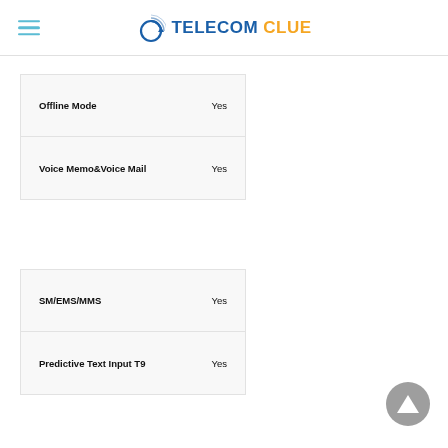TELECOM CLUE
| Feature | Value |
| --- | --- |
| Offline Mode | Yes |
| Voice Memo&Voice Mail | Yes |
| Feature | Value |
| --- | --- |
| SM/EMS/MMS | Yes |
| Predictive Text Input T9 | Yes |